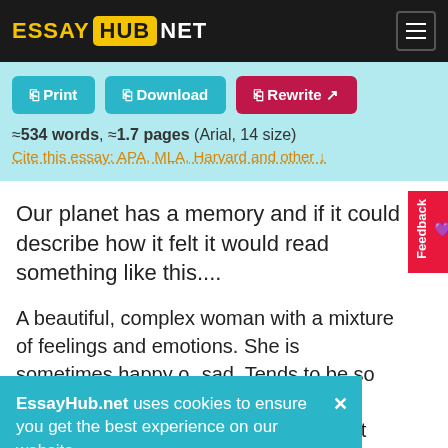ESSAY HUB NET
Print  Download  Rewrite ↗
≈534 words, ≈1.7 pages (Arial, 14 size)
Cite this essay: APA, MLA, Harvard and other ↓
Our planet has a memory and if it could describe how it felt it would read something like this....
A beautiful, complex woman with a mixture of feelings and emotions. She is sometimes happy or sad. Tends to be so worried about her health. She is the provider of life, however the people that are in her life do not take care of her. World War Two is [partially obscured] ies. The [partially obscured] ies.
EssayHub.net uses cookies to ensure you get the best experience on our website
She was so traumatized by the damage that had